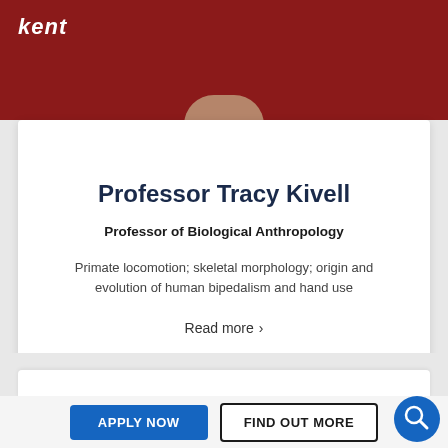kent
[Figure (photo): Partial view of a person's head/shoulders at top of profile card]
Professor Tracy Kivell
Professor of Biological Anthropology
Primate locomotion; skeletal morphology; origin and evolution of human bipedalism and hand use
Read more >
APPLY NOW
FIND OUT MORE